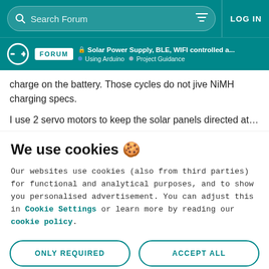Search Forum | LOG IN
Solar Power Supply, BLE, WIFI controlled a... | Using Arduino > Project Guidance
charge on the battery. Those cycles do not jive NiMH charging specs.
I use 2 servo motors to keep the solar panels directed at the sun. I use a 50W 12V loaded solar panel. I use a PWM
We use cookies 🍪
Our websites use cookies (also from third parties) for functional and analytical purposes, and to show you personalised advertisement. You can adjust this in Cookie Settings or learn more by reading our cookie policy.
ONLY REQUIRED
ACCEPT ALL